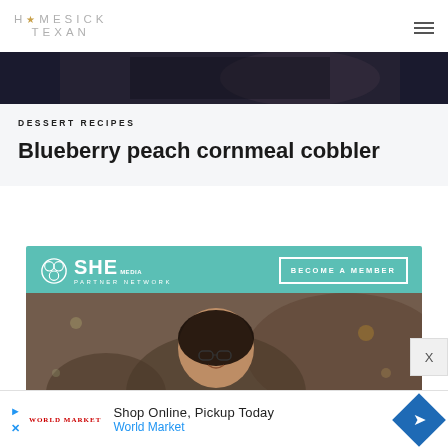HOMESICK TEXAN
[Figure (photo): Top portion of a food photo partially visible at top of page, dark background]
DESSERT RECIPES
Blueberry peach cornmeal cobbler
[Figure (advertisement): SHE Media Partner Network advertisement with teal background, 'BECOME A MEMBER' button, and photo of smiling woman with glasses using laptop]
[Figure (advertisement): World Market advertisement: 'Shop Online, Pickup Today' with blue navigation diamond icon]